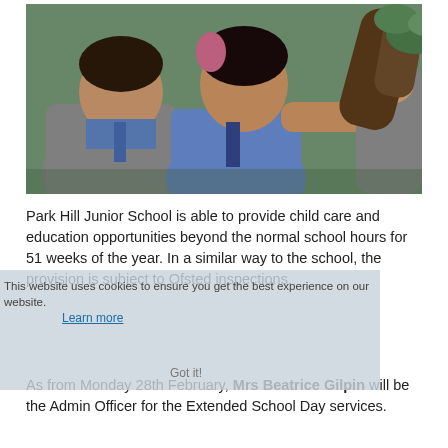[Figure (photo): Two school students in grey and blue uniforms examining something on a tree branch outdoors]
Park Hill Junior School is able to provide child care and education opportunities beyond the normal school hours for 51 weeks of the year. In a similar way to the school, the provision is subject to Ofsted inspections.
Learn more
As from Monday 28th February, Mrs Beatrice Gilpin will be the Admin Officer for the Extended School Day services.